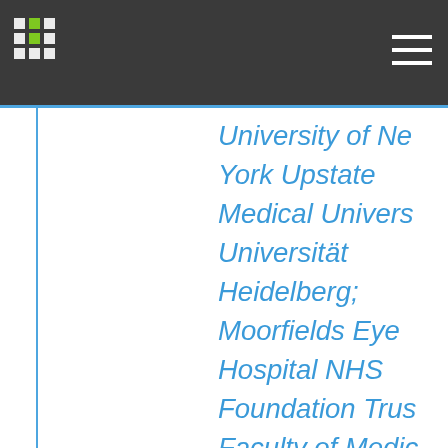Navigation header with logo and menu icon
University of New York Upstate Medical University; Universität Heidelberg; Moorfields Eye Hospital NHS Foundation Trust; Faculty of Medicine Ramathibodi Hospital, Mahidol University; Save Sight Institute; Hôpitaux universitaires de Genève; CHU Angers; Singapore National Eye Centre; Centre Hospitalier Universitaire de